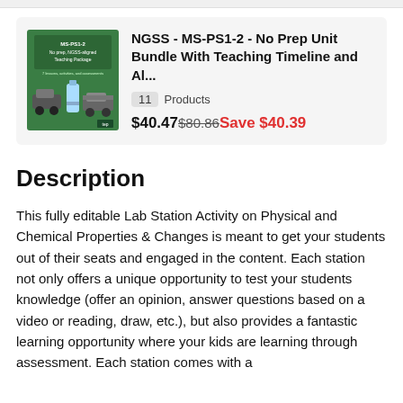[Figure (screenshot): Product thumbnail for NGSS MS-PS1-2 No Prep NGSS-aligned Teaching Package showing a green cover with cars and a water bottle]
NGSS - MS-PS1-2 - No Prep Unit Bundle With Teaching Timeline and Al...
11 Products
$40.47$80.86Save $40.39
Description
This fully editable Lab Station Activity on Physical and Chemical Properties & Changes is meant to get your students out of their seats and engaged in the content. Each station not only offers a unique opportunity to test your students knowledge (offer an opinion, answer questions based on a video or reading, draw, etc.), but also provides a fantastic learning opportunity where your kids are learning through assessment. Each station comes with a